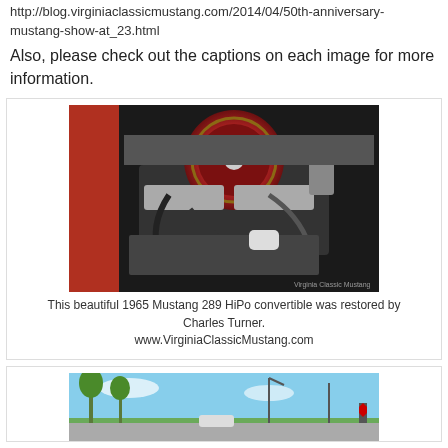http://blog.virginiaclassicmustang.com/2014/04/50th-anniversary-mustang-show-at_23.html
Also, please check out the captions on each image for more information.
[Figure (photo): Engine bay of a 1965 Mustang 289 HiPo convertible, showing a chrome air cleaner, engine components, wiring, and various mechanical parts.]
This beautiful 1965 Mustang 289 HiPo convertible was restored by Charles Turner.
www.VirginiaClassicMustang.com
[Figure (photo): Outdoor scene showing a car show or parking area with trees and clear sky in the background.]